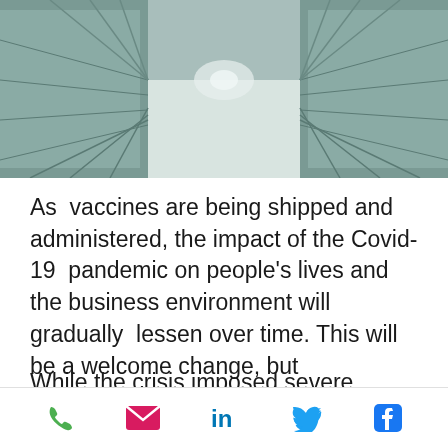[Figure (photo): Indoor corridor/hallway with rows of cabinet-like structures on both sides, perspective view looking down the center, muted teal/grey tones.]
As  vaccines are being shipped and administered, the impact of the Covid-19  pandemic on people's lives and the business environment will gradually  lessen over time. This will be a welcome change, but organizations must  resist a complete reversion to their pre-pandemic practices.
While the crisis imposed severe restrictions, it also provided a unique
phone | email | linkedin | twitter | facebook